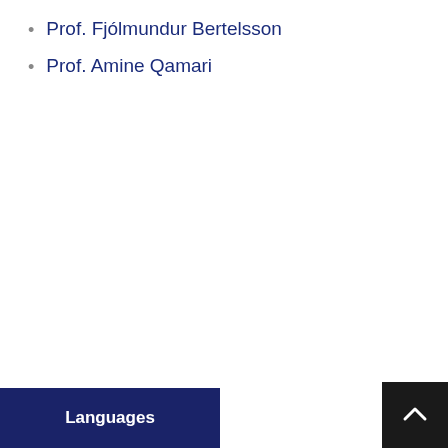Prof. Fjólmundur Bertelsson
Prof. Amine Qamari
Languages